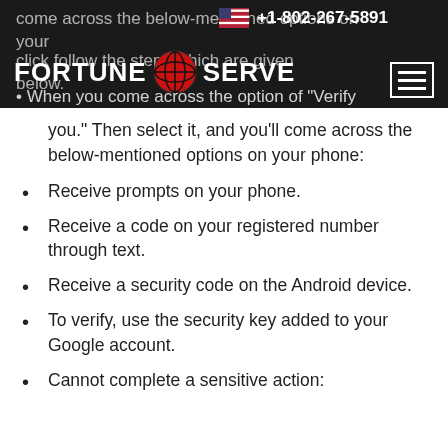FORTUNE SERVE | +1-802-267-5891
you." Then select it, and you'll come across the below-mentioned options on your phone:
Receive prompts on your phone.
Receive a code on your registered number through text.
Receive a security code on the Android device.
To verify, use the security key added to your Google account.
Cannot complete a sensitive action: